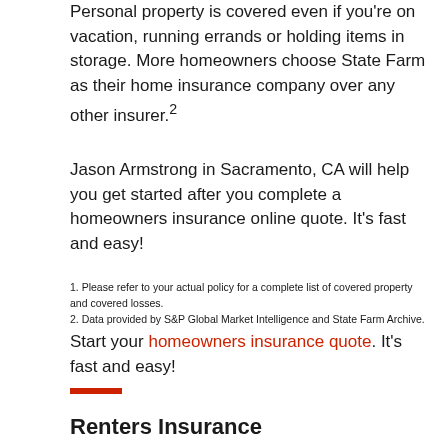Personal property is covered even if you're on vacation, running errands or holding items in storage. More homeowners choose State Farm as their home insurance company over any other insurer.²
Jason Armstrong in Sacramento, CA will help you get started after you complete a homeowners insurance online quote. It's fast and easy!
1. Please refer to your actual policy for a complete list of covered property and covered losses.
2. Data provided by S&P Global Market Intelligence and State Farm Archive.
Start your homeowners insurance quote. It's fast and easy!
Renters Insurance